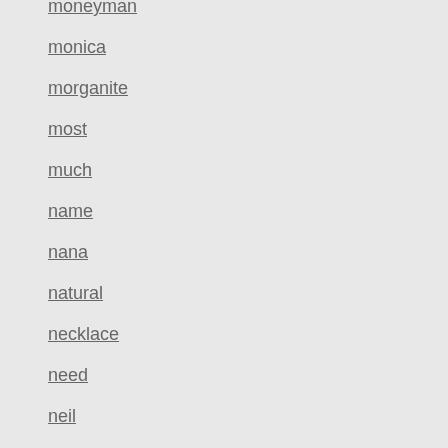moneyman
monica
morganite
most
much
name
nana
natural
necklace
need
neil
newly
nice